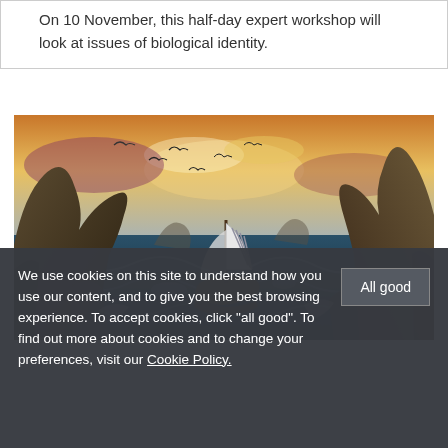On 10 November, this half-day expert workshop will look at issues of biological identity.
[Figure (illustration): A dramatic painting of an ancient sailing ship with striped sail navigating through turbulent waters surrounded by large rocky outcroppings, with seabirds flying overhead under a stormy golden sky.]
We use cookies on this site to understand how you use our content, and to give you the best browsing experience. To accept cookies, click "all good". To find out more about cookies and to change your preferences, visit our Cookie Policy.